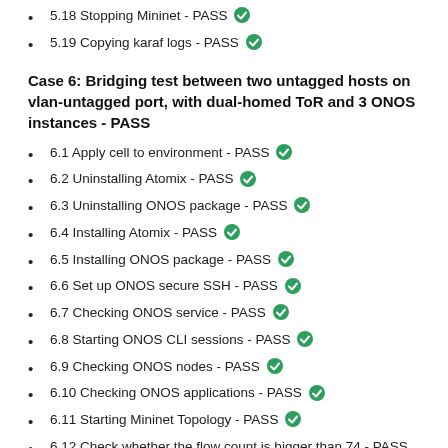5.18 Stopping Mininet - PASS ✓
5.19 Copying karaf logs - PASS ✓
Case 6: Bridging test between two untagged hosts on vlan-untagged port, with dual-homed ToR and 3 ONOS instances - PASS
6.1 Apply cell to environment - PASS ✓
6.2 Uninstalling Atomix - PASS ✓
6.3 Uninstalling ONOS package - PASS ✓
6.4 Installing Atomix - PASS ✓
6.5 Installing ONOS package - PASS ✓
6.6 Set up ONOS secure SSH - PASS ✓
6.7 Checking ONOS service - PASS ✓
6.8 Starting ONOS CLI sessions - PASS ✓
6.9 Checking ONOS nodes - PASS ✓
6.10 Checking ONOS applications - PASS ✓
6.11 Starting Mininet Topology - PASS ✓
6.12 Check whether the flow count is bigger than 74 - PASS ✓
6.13 Check whether all flow status are ADDED - PASS ✓
6.14 Check whether the flow count of chain...